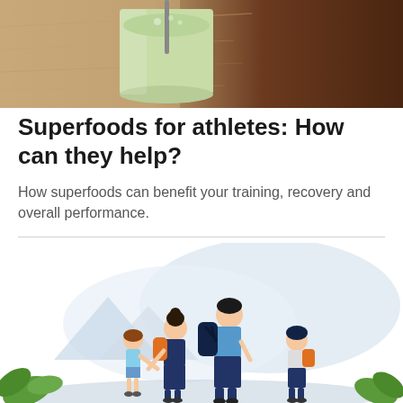[Figure (photo): Close-up photo of a green smoothie drink in a glass with a straw, on a wooden surface, shot from above.]
Superfoods for athletes: How can they help?
How superfoods can benefit your training, recovery and overall performance.
[Figure (illustration): Flat-style illustration of a family of four hiking: an adult man with a dark backpack, an adult woman with an orange backpack, a small girl, and a boy with a small orange backpack, all walking together against a light blue cloud/mountain scenic background with green leaves in the foreground.]